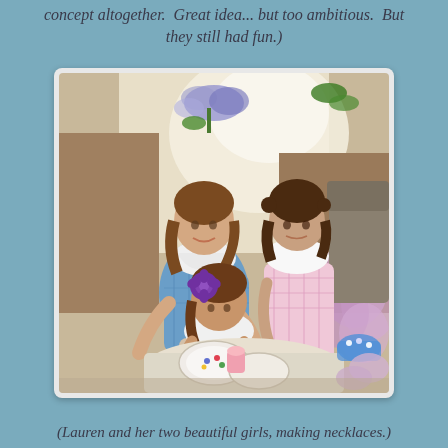concept altogether.  Great idea... but too ambitious.  But they still had fun.)
[Figure (photo): A woman and two young girls sitting around a table making necklaces, with flowers and plates visible on the table. The woman wears a blue plaid top and white scarf. One girl wears a purple flower headband and floral dress, the other girl wears a pink and white dress. Lilac flowers are visible on the right side. Window light in background with potted plants.]
(Lauren and her two beautiful girls, making necklaces.)